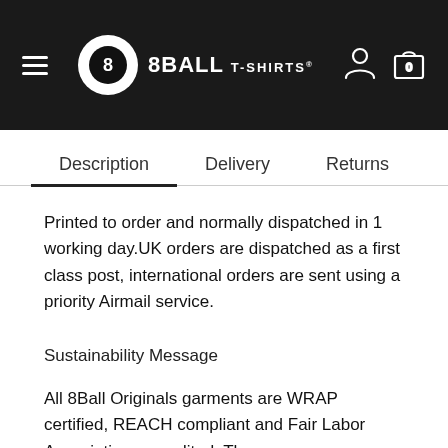8BALL T-SHIRTS
Description | Delivery | Returns
Printed to order and normally dispatched in 1 working day.UK orders are dispatched as a first class post, international orders are sent using a priority Airmail service.
Sustainability Message
All 8Ball Originals garments are WRAP certified, REACH compliant and Fair Labor Association accredited. They are